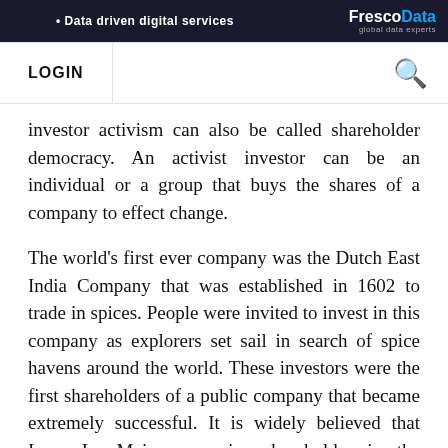[Figure (other): FrescoData banner advertisement with text: Data driven digital services]
LOGIN [search icon]
investor activism can also be called shareholder democracy. An activist investor can be an individual or a group that buys the shares of a company to effect change.
The world's first ever company was the Dutch East India Company that was established in 1602 to trade in spices. People were invited to invest in this company as explorers set sail in search of spice havens around the world. These investors were the first shareholders of a public company that became extremely successful. It is widely believed that Isaac Le Maire, a major shareholder in the company, was the first known shareholder activist. Today, an